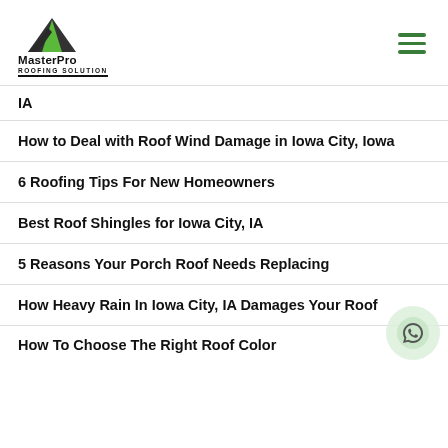MasterPro Roofing Solution
IA
How to Deal with Roof Wind Damage in Iowa City, Iowa
6 Roofing Tips For New Homeowners
Best Roof Shingles for Iowa City, IA
5 Reasons Your Porch Roof Needs Replacing
How Heavy Rain In Iowa City, IA Damages Your Roof
How To Choose The Right Roof Color